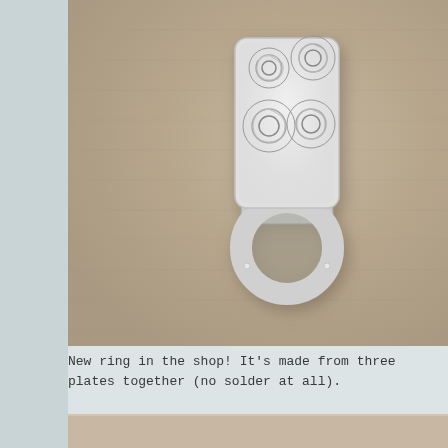[Figure (photo): Close-up photograph of a silver ring lying on a beige/taupe fabric background. The ring features an ornate top panel with a cut-out rose bouquet design (three roses visible), attached to a round band via small rivets or screws. The ring is photographed from a side angle showing the open circular band.]
New ring in the shop! It's made from three plates together (no solder at all).
[Figure (photo): Partial view of a second photograph showing a beige/taupe fabric background, the content of the ring photo is cropped at the bottom of the page.]